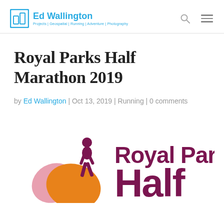Ed Wallington — Projects | Geospatial | Running | Adventure | Photography
Royal Parks Half Marathon 2019
by Ed Wallington | Oct 13, 2019 | Running | 0 comments
[Figure (logo): Royal Parks Half Marathon 2019 logo with runner silhouette and autumn leaves in purple, orange, and pink]